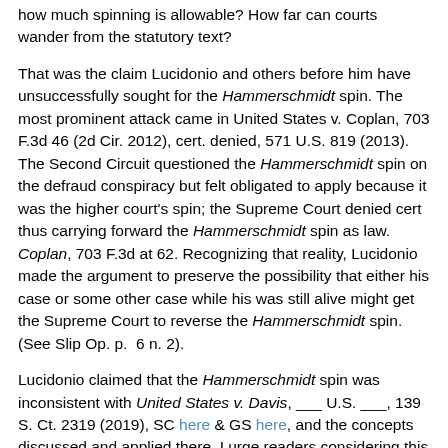how much spinning is allowable? How far can courts wander from the statutory text?
That was the claim Lucidonio and others before him have unsuccessfully sought for the Hammerschmidt spin. The most prominent attack came in United States v. Coplan, 703 F.3d 46 (2d Cir. 2012), cert. denied, 571 U.S. 819 (2013). The Second Circuit questioned the Hammerschmidt spin on the defraud conspiracy but felt obligated to apply because it was the higher court's spin; the Supreme Court denied cert thus carrying forward the Hammerschmidt spin as law. Coplan, 703 F.3d at 62. Recognizing that reality, Lucidonio made the argument to preserve the possibility that either his case or some other case while his was still alive might get the Supreme Court to reverse the Hammerschmidt spin. (See Slip Op. p.  6 n. 2).
Lucidonio claimed that the Hammerschmidt spin was inconsistent with United States v. Davis, ___ U.S. ___, 139 S. Ct. 2319 (2019), SC here & GS here, and the concepts discussed and applied there. I urge readers considering this issue to review that case carefully because the conclusion of the Davis majority outside the context of tax crimes seems